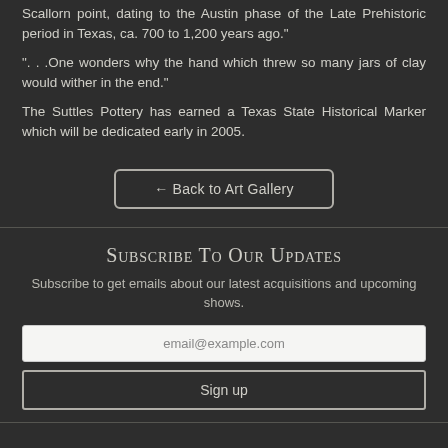Scallorn point, dating to the Austin phase of the Late Prehistoric period in Texas, ca. 700 to 1,200 years ago."
". . .One wonders why the hand which threw so many jars of clay would wither in the end."
The Suttles Pottery has earned a Texas State Historical Marker which will be dedicated early in 2005.
← Back to Art Gallery
Subscribe To Our Updates
Subscribe to get emails about our latest acquisitions and upcoming shows.
email@example.com
Sign up